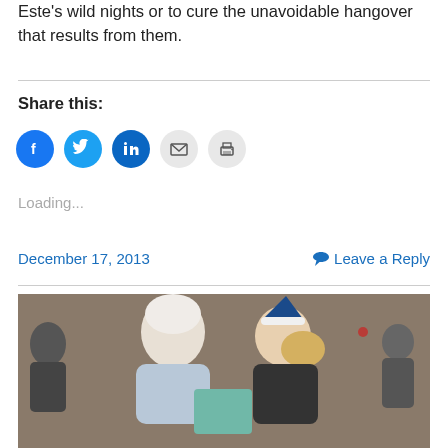Este's wild nights or to cure the unavoidable hangover that results from them.
Share this:
[Figure (illustration): Row of social share icon buttons: Facebook (blue), Twitter (blue), LinkedIn (blue), Email (light gray), Print (light gray)]
Loading...
December 17, 2013
Leave a Reply
[Figure (photo): An elderly person with white hair and a younger woman wearing a blue Santa hat leaning over what appears to be a gift box, in an indoor setting.]